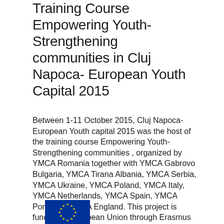Training Course Empowering Youth-Strengthening communities in Cluj Napoca- European Youth Capital 2015
Between 1-11 October 2015, Cluj Napoca- European Youth capital 2015 was the host of the training course Empowering Youth-Strengthening communities , organized by YMCA Romania together with YMCA Gabrovo Bulgaria, YMCA Tirana Albania, YMCA Serbia, YMCA Ukraine, YMCA Poland, YMCA Italy, YMCA Netherlands, YMCA Spain, YMCA Portugal , YMCA England. This project is funded by European Union through Erasmus Plus program.
[Figure (logo): European Union Erasmus Plus logo with blue flag with yellow stars partially visible at bottom]